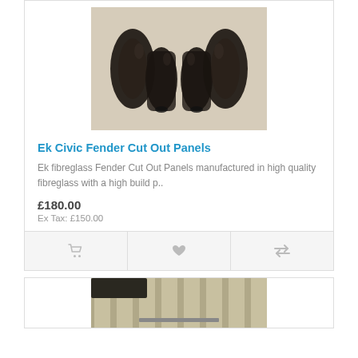[Figure (photo): Photo of dark glossy fibreglass fender cut out panels laid out on a white surface]
Ek Civic Fender Cut Out Panels
Ek fibreglass Fender Cut Out Panels manufactured in high quality fibreglass with a high build p..
£180.00
Ex Tax: £150.00
[Figure (photo): Photo of a second product partially visible at the bottom of the page]